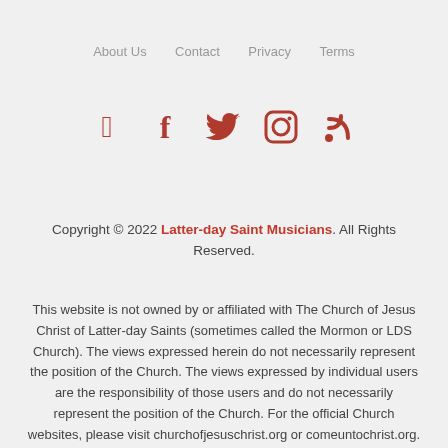About Us   Contact   Privacy   Terms
[Figure (illustration): Social media icons: Facebook, Twitter, Instagram, RSS feed — all in dark red/crimson color]
Copyright © 2022 Latter-day Saint Musicians. All Rights Reserved.
This website is not owned by or affiliated with The Church of Jesus Christ of Latter-day Saints (sometimes called the Mormon or LDS Church). The views expressed herein do not necessarily represent the position of the Church. The views expressed by individual users are the responsibility of those users and do not necessarily represent the position of the Church. For the official Church websites, please visit churchofjesuschrist.org or comeuntochrist.org.